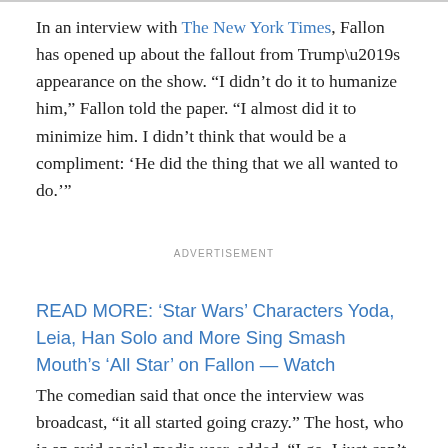In an interview with The New York Times, Fallon has opened up about the fallout from Trump’s appearance on the show. “I didn’t do it to humanize him,” Fallon told the paper. “I almost did it to minimize him. I didn’t think that would be a compliment: ‘He did the thing that we all wanted to do.’”
ADVERTISEMENT
READ MORE: ‘Star Wars’ Characters Yoda, Leia, Han Solo and More Sing Smash Mouth’s ‘All Star’ on Fallon — Watch
The comedian said that once the interview was broadcast, “it all started going crazy.” The host, who is an avid social media user, added, “I go, I just can’t read Twitter. Then I